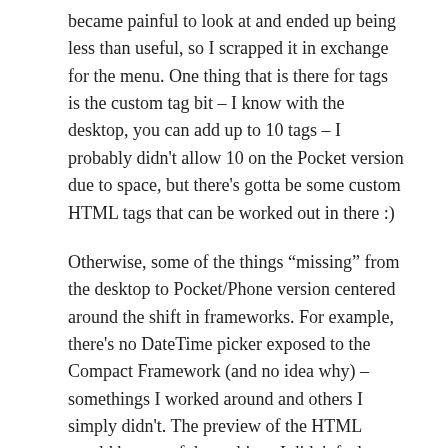became painful to look at and ended up being less than useful, so I scrapped it in exchange for the menu. One thing that is there for tags is the custom tag bit – I know with the desktop, you can add up to 10 tags – I probably didn't allow 10 on the Pocket version due to space, but there's gotta be some custom HTML tags that can be worked out in there :)
Otherwise, some of the things "missing" from the desktop to Pocket/Phone version centered around the shift in frameworks. For example, there's no DateTime picker exposed to the Compact Framework (and no idea why) – somethings I worked around and others I simply didn't. The preview of the HTML would be one of those things I didn't feel compelled to work on because I never had a burning need to look at it on a device – the Pocket/Phone version always felt more like a Moblog client than a full blown blog client.